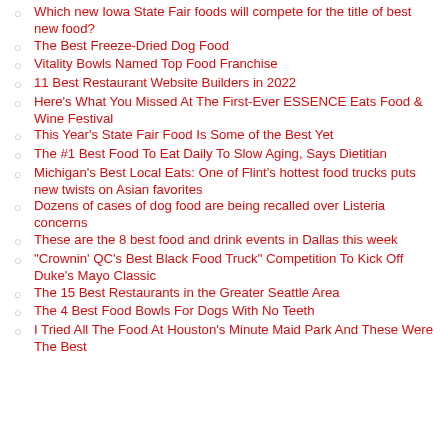Which new Iowa State Fair foods will compete for the title of best new food?
The Best Freeze-Dried Dog Food
Vitality Bowls Named Top Food Franchise
11 Best Restaurant Website Builders in 2022
Here's What You Missed At The First-Ever ESSENCE Eats Food & Wine Festival
This Year's State Fair Food Is Some of the Best Yet
The #1 Best Food To Eat Daily To Slow Aging, Says Dietitian
Michigan's Best Local Eats: One of Flint's hottest food trucks puts new twists on Asian favorites
Dozens of cases of dog food are being recalled over Listeria concerns
These are the 8 best food and drink events in Dallas this week
"Crownin' QC's Best Black Food Truck" Competition To Kick Off Duke's Mayo Classic
The 15 Best Restaurants in the Greater Seattle Area
The 4 Best Food Bowls For Dogs With No Teeth
I Tried All The Food At Houston's Minute Maid Park And These Were The Best